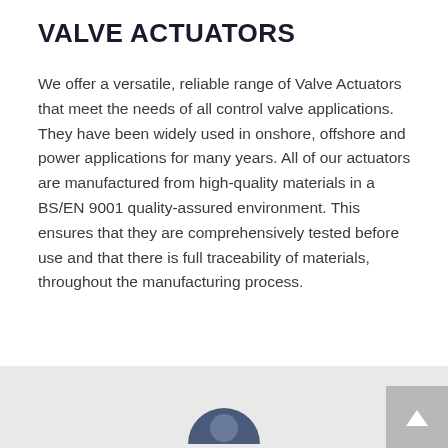VALVE ACTUATORS
We offer a versatile, reliable range of Valve Actuators that meet the needs of all control valve applications. They have been widely used in onshore, offshore and power applications for many years. All of our actuators are manufactured from high-quality materials in a BS/EN 9001 quality-assured environment. This ensures that they are comprehensively tested before use and that there is full traceability of materials, throughout the manufacturing process.
[Figure (photo): Partial view of a photo showing what appears to be a person or object against a light grey background, with a scroll-to-top button in the bottom right corner.]